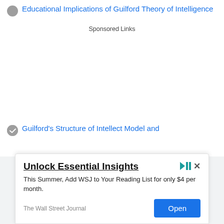Educational Implications of Guilford Theory of Intelligence
Sponsored Links
Guilford's Structure of Intellect Model and
[Figure (screenshot): Advertisement overlay from The Wall Street Journal: 'Unlock Essential Insights' - This Summer, Add WSJ to Your Reading List for only $4 per month. Open button.]